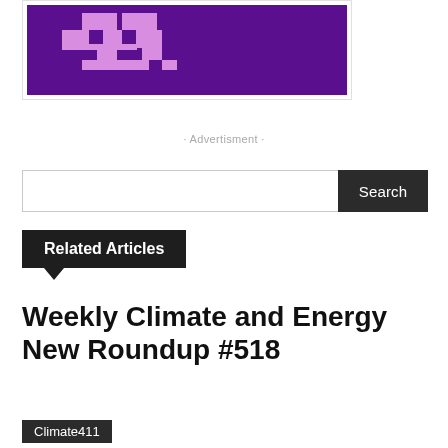[Figure (logo): Purple pixel-art logo with cross/plus shapes in pink and dark purple on a purple background]
· Advertisment ·
Search
Related Articles
Weekly Climate and Energy New Roundup #518
Climate411